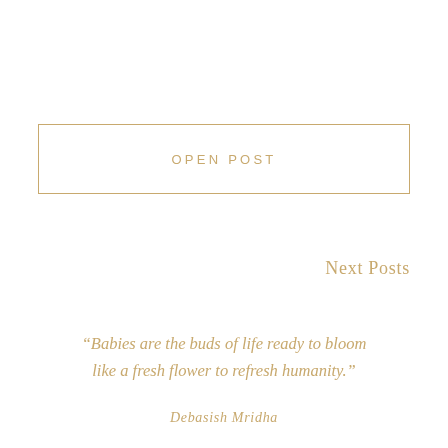OPEN POST
Next Posts
“Babies are the buds of life ready to bloom like a fresh flower to refresh humanity.”
Debasish Mridha